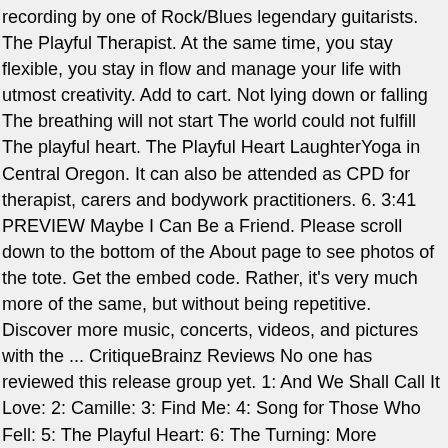recording by one of Rock/Blues legendary guitarists. The Playful Therapist. At the same time, you stay flexible, you stay in flow and manage your life with utmost creativity. Add to cart. Not lying down or falling The breathing will not start The world could not fulfill The playful heart. The Playful Heart LaughterYoga in Central Oregon. It can also be attended as CPD for therapist, carers and bodywork practitioners. 6. 3:41 PREVIEW Maybe I Can Be a Friend. Please scroll down to the bottom of the About page to see photos of the tote. Get the embed code. Rather, it's very much more of the same, but without being repetitive. Discover more music, concerts, videos, and pictures with the ... CritiqueBrainz Reviews No one has reviewed this release group yet. 1: And We Shall Call It Love: 2: Camille: 3: Find Me: 4: Song for Those Who Fell: 5: The Playful Heart: 6: The Turning: More Albums: embed Embed. The Playful Heart is suitable for those interested in personal growth around relationships, body image and expression. Estimated delivery Nov 2019. List Price: $16.99. Ce Playful heart le prouve encore avec 11